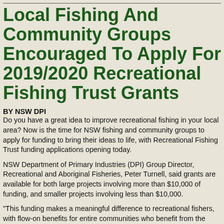Local Fishing And Community Groups Encouraged To Apply For 2019/2020 Recreational Fishing Trust Grants
BY NSW DPI
Do you have a great idea to improve recreational fishing in your local area? Now is the time for NSW fishing and community groups to apply for funding to bring their ideas to life, with Recreational Fishing Trust funding applications opening today.
NSW Department of Primary Industries (DPI) Group Director, Recreational and Aboriginal Fisheries, Peter Turnell, said grants are available for both large projects involving more than $10,000 of funding, and smaller projects involving less than $10,000.
“This funding makes a meaningful difference to recreational fishers, with flow-on benefits for entire communities who benefit from the increased tourism and business opportunities that recreational fishing can generate in their region,” Mr Turnell said.
“Projects funded from the Recreational Fishing Trust include recreational